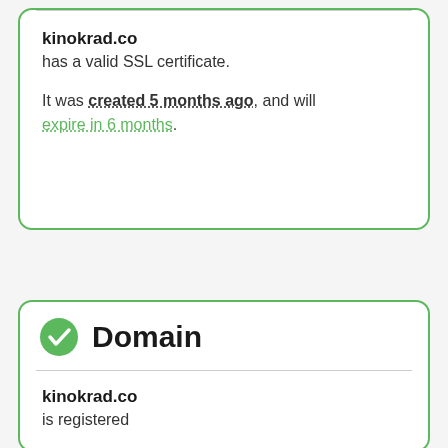kinokrad.co
has a valid SSL certificate.

It was created 5 months ago, and will expire in 6 months.
Domain
kinokrad.co
is registered